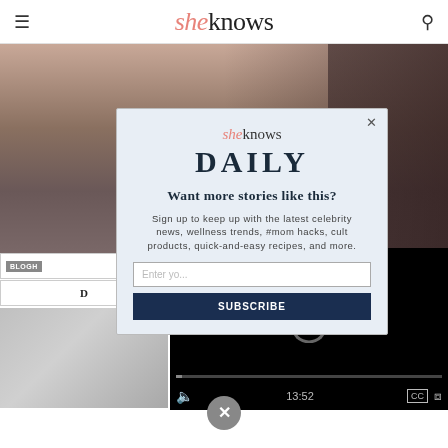sheknows — header navigation with hamburger menu and search icon
[Figure (photo): Hero image showing a person wearing a black lace dress, cropped to shoulders and neckline]
[Figure (screenshot): Modal popup for SheKnows Daily newsletter signup with logo, DAILY heading, headline 'Want more stories like this?', subtext about celebrity news and wellness, email input field, and subscribe button]
[Figure (screenshot): Video player overlay showing a loading spinner, progress bar, and controls including mute, timestamp 13:52, CC button, and fullscreen button]
[Figure (photo): Grayscale thumbnail image in lower left area]
[Figure (other): Circular close/dismiss button at bottom center of page]